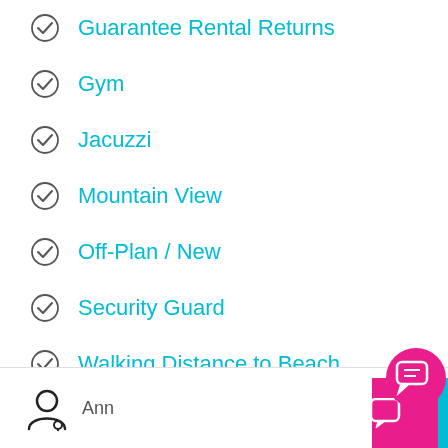Guarantee Rental Returns
Gym
Jacuzzi
Mountain View
Off-Plan / New
Security Guard
Walking Distance to Beach
Ann